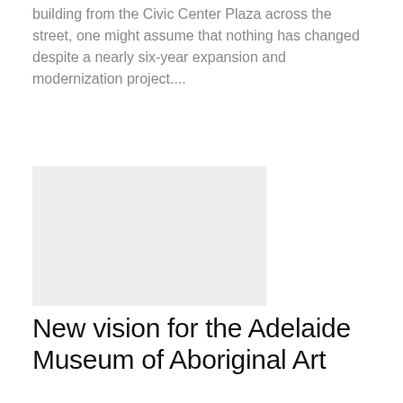building from the Civic Center Plaza across the street, one might assume that nothing has changed despite a nearly six-year expansion and modernization project....
[Figure (photo): Gray placeholder image representing a photograph of a building or museum]
New vision for the Adelaide Museum of Aboriginal Art
Jessica D. Abne...    Aug 6, 2021
Diller Scofidio and Renfro and Woods Bagot's design for the Aboriginal Arts and Cultures Center (AACC) on the former site of the Royal Adelaide Hospital on Kaurna Lands has undergone a planning...